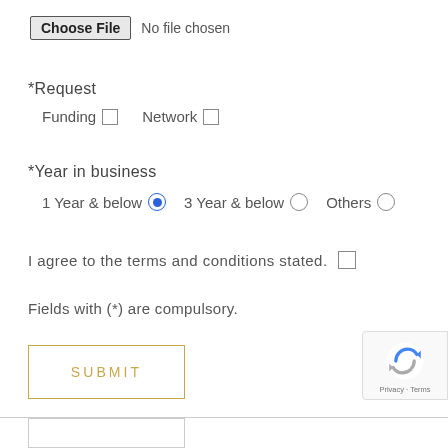Choose File  No file chosen
*Request
Funding  □   Network  □
*Year in business
1 Year & below  ●   3 Year & below  ○   Others  ○
I agree to the terms and conditions stated.   □
Fields with (*) are compulsory.
SUBMIT
[Figure (logo): Google reCAPTCHA badge with Privacy and Terms links]